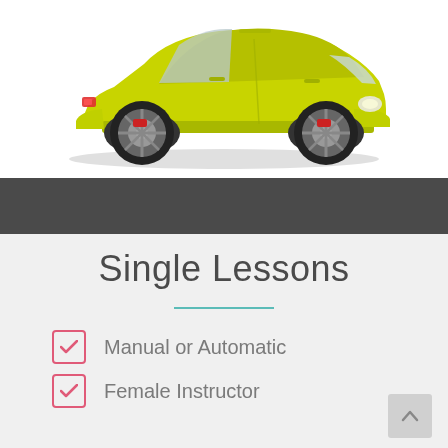[Figure (illustration): Yellow hatchback car (Peugeot 208 style) shown from the side on a white background]
Single Lessons
Manual or Automatic
Female Instructor